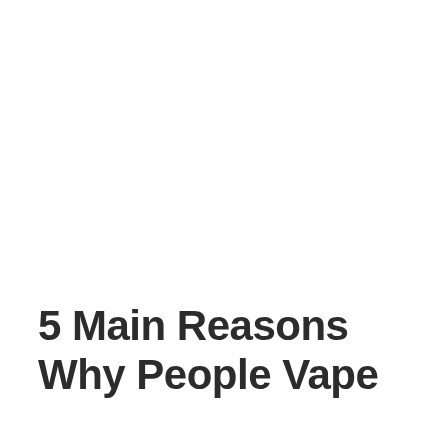5 Main Reasons Why People Vape